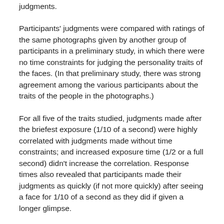judgments.
Participants' judgments were compared with ratings of the same photographs given by another group of participants in a preliminary study, in which there were no time constraints for judging the personality traits of the faces. (In that preliminary study, there was strong agreement among the various participants about the traits of the people in the photographs.)
For all five of the traits studied, judgments made after the briefest exposure (1/10 of a second) were highly correlated with judgments made without time constraints; and increased exposure time (1/2 or a full second) didn't increase the correlation. Response times also revealed that participants made their judgments as quickly (if not more quickly) after seeing a face for 1/10 of a second as they did if given a longer glimpse.